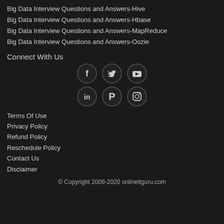Big Data Interview Questions and Answers-Hive
Big Data Interview Questions and Answers-Hbase
Big Data Interview Questions and Answers-MapReduce
Big Data Interview Questions and Answers-Oozie
Connect With Us
[Figure (infographic): Six social media icons arranged in two rows of three: Facebook, Twitter, YouTube (top row); LinkedIn, Pinterest, Instagram (bottom row). Each icon is in a dark circle with a border.]
Terms Of Use
Privacy Policy
Refund Policy
Reschedule Policy
Contact Us
Disclaimer
© Copyright 2009-2020 onlineitguru.com